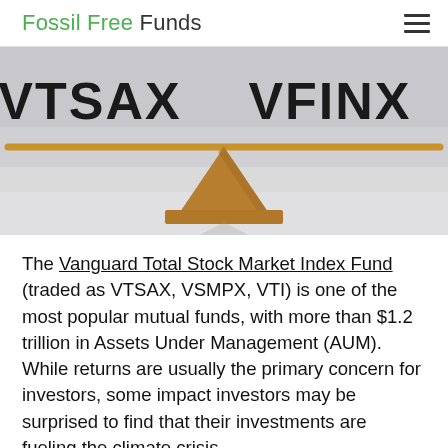Fossil Free Funds
[Figure (illustration): A balance/seesaw scale rendered in 3D with a wooden beam and triangular fulcrum on a grey background. The left side shows 'VTSAX' text and the right side shows 'VFINX' text, with the scale balanced horizontally.]
The Vanguard Total Stock Market Index Fund (traded as VTSAX, VSMPX, VTI) is one of the most popular mutual funds, with more than $1.2 trillion in Assets Under Management (AUM). While returns are usually the primary concern for investors, some impact investors may be surprised to find that their investments are fueling the climate crisis.